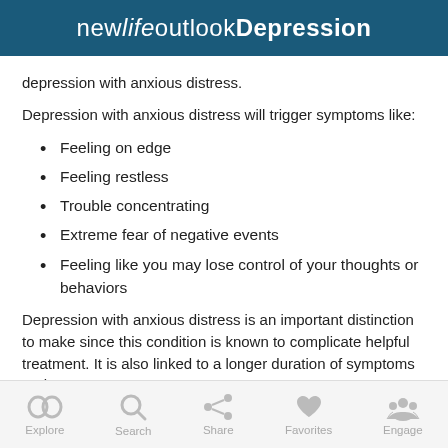new life outlook Depression
depression with anxious distress.
Depression with anxious distress will trigger symptoms like:
Feeling on edge
Feeling restless
Trouble concentrating
Extreme fear of negative events
Feeling like you may lose control of your thoughts or behaviors
Depression with anxious distress is an important distinction to make since this condition is known to complicate helpful treatment. It is also linked to a longer duration of symptoms and
Explore  Search  Share  Favorites  Engage